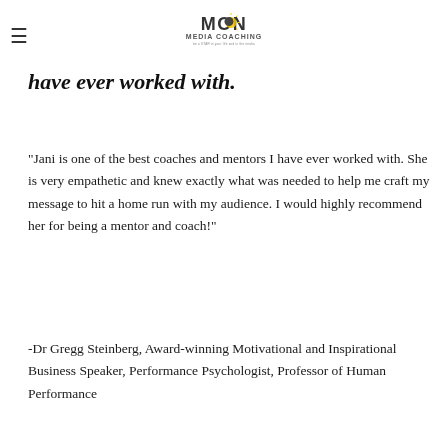MON MEDIA COACHING — be a STAR in your life and in the media
have ever worked with.
“Jani is one of the best coaches and mentors I have ever worked with. She is very empathetic and knew exactly what was needed to help me craft my message to hit a home run with my audience. I would highly recommend her for being a mentor and coach!”
-Dr Gregg Steinberg, Award-winning Motivational and Inspirational Business Speaker, Performance Psychologist, Professor of Human Performance